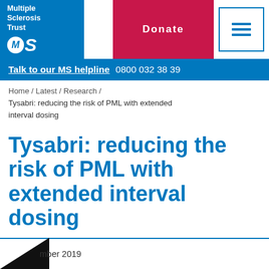[Figure (logo): Multiple Sclerosis Trust logo with blue background, white text 'Multiple Sclerosis Trust' and MS in circle]
Donate
☰ (menu icon)
Talk to our MS helpline  0800 032 38 39
Home / Latest / Research / Tysabri: reducing the risk of PML with extended interval dosing
Tysabri: reducing the risk of PML with extended interval dosing
© mber 2019